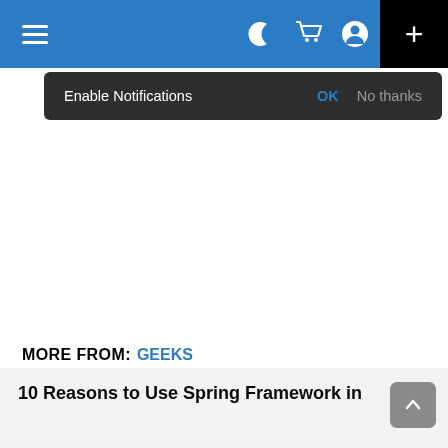[Figure (screenshot): Website navigation bar with hamburger menu on left, moon/cart/user icons and black plus button on right, on blue background]
Enable Notifications   OK   No thanks
MORE FROM: GEEKS
10 Reasons to Use Spring Framework in